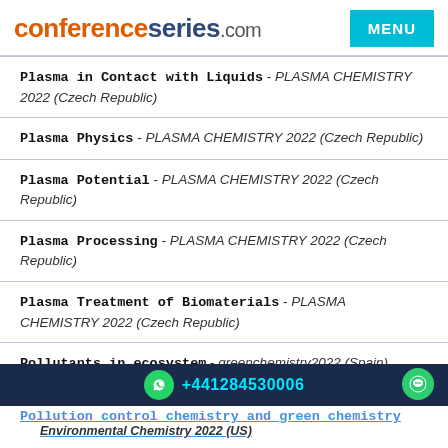conferenceseries.com | MENU
Plasma in Contact with Liquids - PLASMA CHEMISTRY 2022 (Czech Republic)
Plasma Physics - PLASMA CHEMISTRY 2022 (Czech Republic)
Plasma Potential - PLASMA CHEMISTRY 2022 (Czech Republic)
Plasma Processing - PLASMA CHEMISTRY 2022 (Czech Republic)
Plasma Treatment of Biomaterials - PLASMA CHEMISTRY 2022 (Czech Republic)
Pollutants in ecosystem - greenchemistry2022 (Spain)
Pollution Control and Sustainable Environment - petrochemistry2022 (Netherlands)
+441284530006
Pollution control chemistry and green chemistry - Environmental Chemistry 2022 (US)